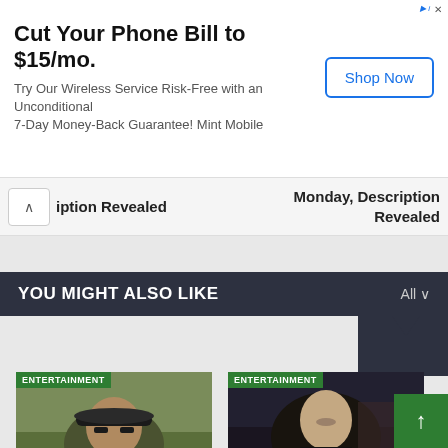[Figure (screenshot): Advertisement banner: Cut Your Phone Bill to $15/mo. Try Our Wireless Service Risk-Free with an Unconditional 7-Day Money-Back Guarantee! Mint Mobile. Shop Now button.]
iption Revealed
Monday, Description Revealed
YOU MIGHT ALSO LIKE
[Figure (photo): Entertainment thumbnail: Westworld Season 4 character in hat and sunglasses outdoors]
Westworld Season 4
[Figure (photo): Entertainment thumbnail: Westworld Season 4 female character in dark setting]
Westworld Season 4